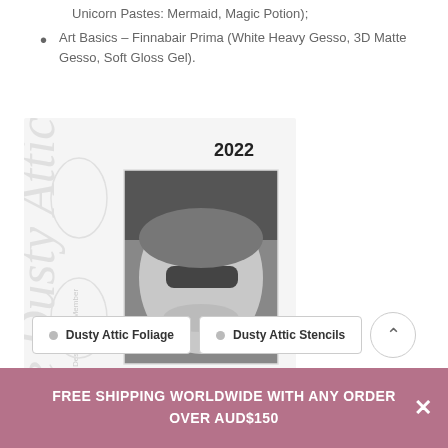Unicorn Pastes: Mermaid, Magic Potion);
Art Basics – Finnabair Prima (White Heavy Gesso, 3D Matte Gesso, Soft Gloss Gel).
[Figure (photo): Design team member badge for 'The Dusty Attic' 2022, featuring a black and white photo of Pascale B from France wearing sunglasses, with decorative flourishes and script text around the border.]
Dusty Attic Foliage
Dusty Attic Stencils
FREE SHIPPING WORLDWIDE WITH ANY ORDER OVER AUD$150